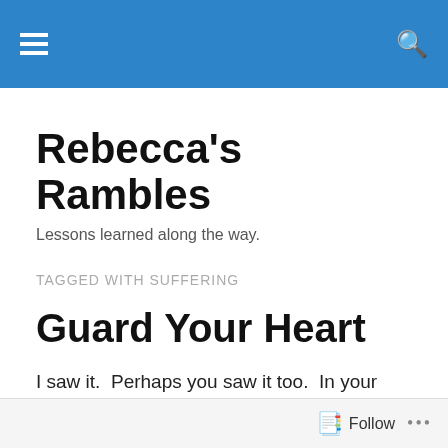Rebecca's Rambles [navigation bar]
Rebecca's Rambles
Lessons learned along the way.
TAGGED WITH SUFFERING
Guard Your Heart
I saw it.  Perhaps you saw it too.  In your Facebook News Feed and posted on various news sites, we saw this headline:
“Mother shares heartbreaking final moments of 4-year-
Follow ...